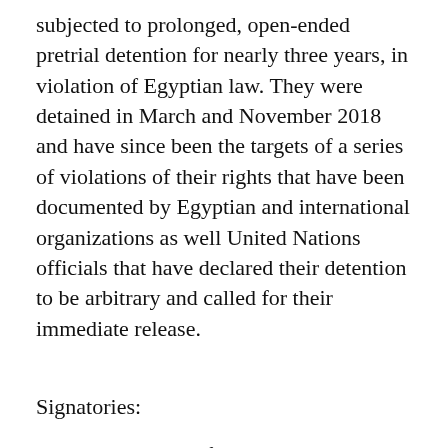subjected to prolonged, open-ended pretrial detention for nearly three years, in violation of Egyptian law. They were detained in March and November 2018 and have since been the targets of a series of violations of their rights that have been documented by Egyptian and international organizations as well United Nations officials that have declared their detention to be arbitrary and called for their immediate release.
Signatories:
Egyptian Initiative for Personal Rights
El-Nadeem Center against Violence and Torture
The Arabic Network for Human Rights Information